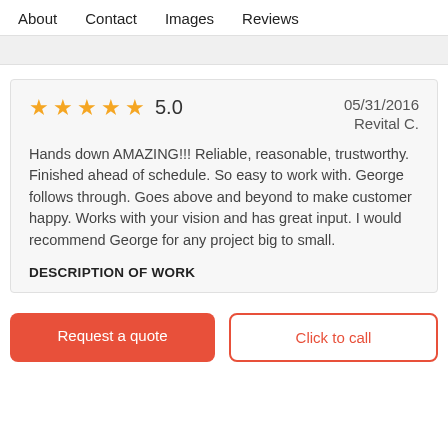About   Contact   Images   Reviews
[Figure (screenshot): Grey bar / partial content area]
★★★★★ 5.0   05/31/2016   Revital C.
Hands down AMAZING!!! Reliable, reasonable, trustworthy. Finished ahead of schedule. So easy to work with. George follows through. Goes above and beyond to make customer happy. Works with your vision and has great input. I would recommend George for any project big to small.
DESCRIPTION OF WORK
Request a quote
Click to call